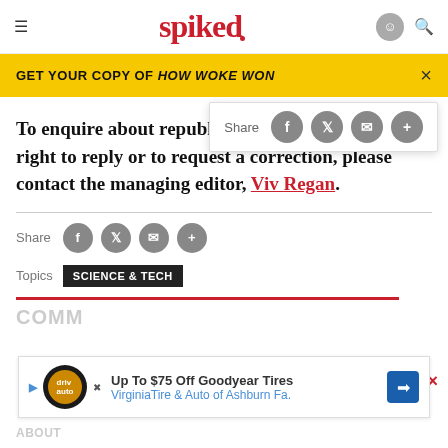spiked
GET YOUR COPY OF HOW WOKE WON
To enquire about republishing spiked's content, a right to reply or to request a correction, please contact the managing editor, Viv Regan.
Share
Topics  SCIENCE & TECH
COMM...
ABOUT
[Figure (screenshot): Advertisement banner for Goodyear Tires - Up To $75 Off Goodyear Tires, VirginiaTire & Auto of Ashburn Fa.]